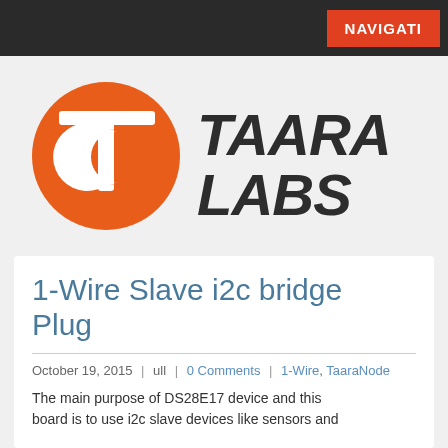NAVIGATI
[Figure (logo): Taara Labs logo: orange circle with white TC monogram on the left, large dark grey stylized 'TAARA LABS' text on the right]
1-Wire Slave i2c bridge Plug
October 19, 2015 | ull | 0 Comments | 1-Wire, TaaraNode
The main purpose of DS28E17 device and this board is to use i2c slave devices like sensors and